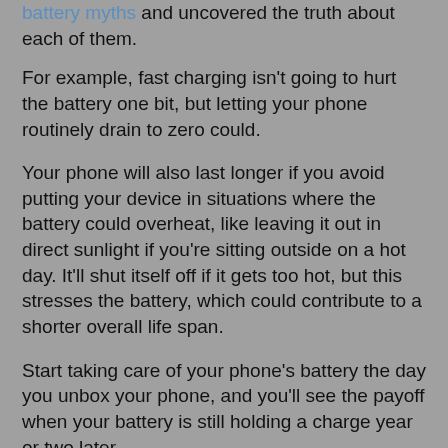battery myths and uncovered the truth about each of them.
For example, fast charging isn't going to hurt the battery one bit, but letting your phone routinely drain to zero could.
Your phone will also last longer if you avoid putting your device in situations where the battery could overheat, like leaving it out in direct sunlight if you're sitting outside on a hot day. It'll shut itself off if it gets too hot, but this stresses the battery, which could contribute to a shorter overall life span.
Start taking care of your phone's battery the day you unbox your phone, and you'll see the payoff when your battery is still holding a charge year or two later.
REPLACE A BROKEN BATTERY INSTEAD OF THE PHONE
Even if you've done everything by the book, you may still find yourself dealing with a battery that over time just refuses to hold a charge. Instead of replacing the entire phone, try replacing the battery.